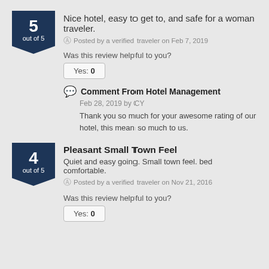5 out of 5
Nice hotel, easy to get to, and safe for a woman traveler.
Posted by a verified traveler on Feb 7, 2019
Was this review helpful to you?
Yes: 0
Comment From Hotel Management
Feb 28, 2019 by CY
Thank you so much for your awesome rating of our hotel, this mean so much to us.
4 out of 5
Pleasant Small Town Feel
Quiet and easy going. Small town feel. bed comfortable.
Posted by a verified traveler on Nov 21, 2016
Was this review helpful to you?
Yes: 0